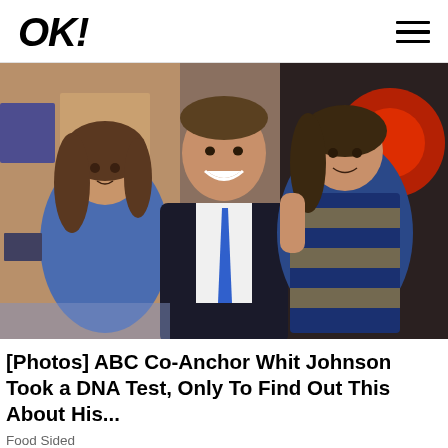OK!
[Figure (photo): A smiling man in a suit with a blue tie poses with two young girls in a TV studio setting. The girl on the left wears a blue top, the girl on the right wears a sparkly striped dress and is held by the man.]
[Photos] ABC Co-Anchor Whit Johnson Took a DNA Test, Only To Find Out This About His...
Food Sided